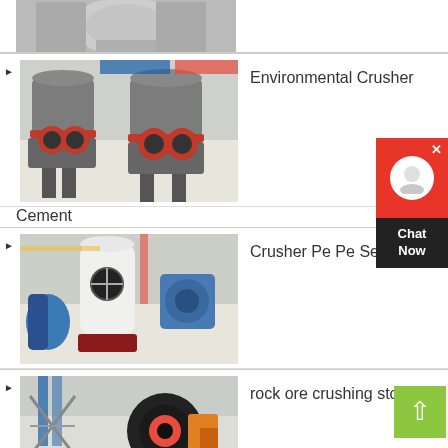[Figure (photo): Partial top view of industrial crushing/milling machine in a factory setting]
[Figure (photo): Two industrial environmental crushers with red and black bases in factory]
Environmental Crusher
Cement
[Figure (photo): Industrial crusher pe pe series machines including white cylindrical mill and blue blower in factory]
Crusher Pe Pe Series
[Figure (photo): Rock ore crushing stones industrial jaw crusher machine in factory]
rock ore crushing stones in